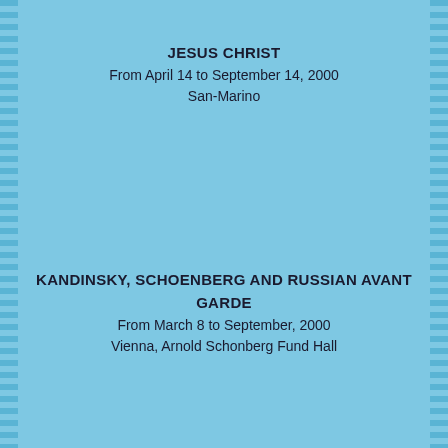JESUS CHRIST
From April 14 to September 14, 2000
San-Marino
KANDINSKY, SCHOENBERG AND RUSSIAN AVANT GARDE
From March 8 to September, 2000
Vienna, Arnold Schonberg Fund Hall